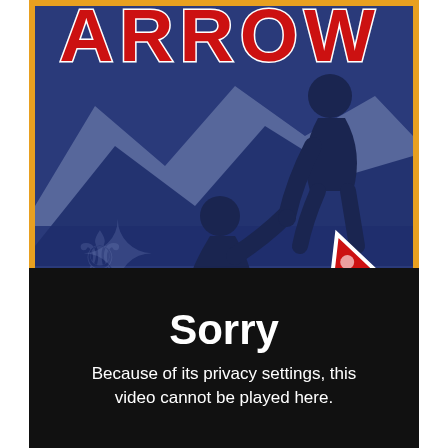[Figure (illustration): 2017 National Scout Jamboree badge/poster with dark blue background, silhouettes of two scouts reaching toward each other on a mountain, mountains in background, a red arrowhead graphic, text 'ARROW' at top (partially cut off), '2017' in orange/yellow, 'NATIONAL SCOUT JAMBOREE' in white, orange border around badge.]
[Figure (screenshot): Black video player error screen showing 'Sorry' in large white bold text and 'Because of its privacy settings, this video cannot be played here.' in smaller white text.]